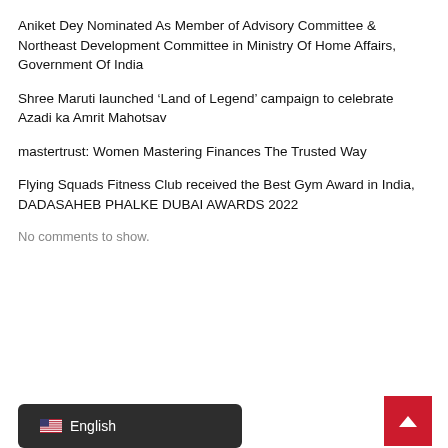Aniket Dey Nominated As Member of Advisory Committee & Northeast Development Committee in Ministry Of Home Affairs, Government Of India
Shree Maruti launched ‘Land of Legend’ campaign to celebrate Azadi ka Amrit Mahotsav
mastertrust: Women Mastering Finances The Trusted Way
Flying Squads Fitness Club received the Best Gym Award in India, DADASAHEB PHALKE DUBAI AWARDS 2022
No comments to show.
Categories
English